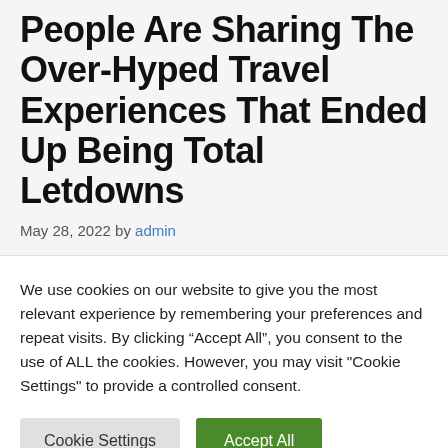People Are Sharing The Over-Hyped Travel Experiences That Ended Up Being Total Letdowns
May 28, 2022 by admin
We use cookies on our website to give you the most relevant experience by remembering your preferences and repeat visits. By clicking “Accept All”, you consent to the use of ALL the cookies. However, you may visit "Cookie Settings" to provide a controlled consent.